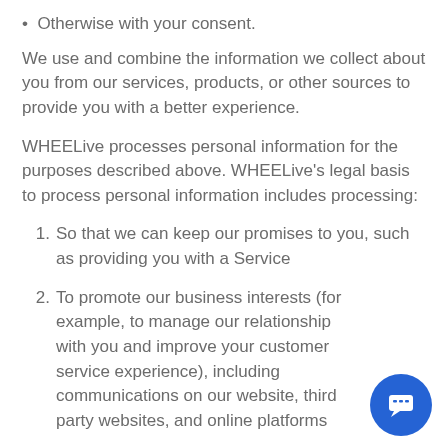Otherwise with your consent.
We use and combine the information we collect about you from our services, products, or other sources to provide you with a better experience.
WHEELive processes personal information for the purposes described above. WHEELive's legal basis to process personal information includes processing:
1. So that we can keep our promises to you, such as providing you with a Service
2. To promote our business interests (for example, to manage our relationship with you and improve your customer service experience), including communications on our website, third party websites, and online platforms
3. To comply with the law and legal processes